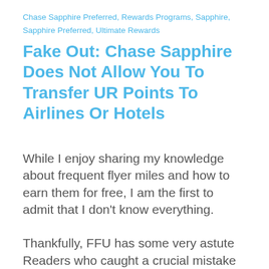Chase Sapphire Preferred, Rewards Programs, Sapphire, Sapphire Preferred, Ultimate Rewards
Fake Out: Chase Sapphire Does Not Allow You To Transfer UR Points To Airlines Or Hotels
While I enjoy sharing my knowledge about frequent flyer miles and how to earn them for free, I am the first to admit that I don't know everything.
Thankfully, FFU has some very astute Readers who caught a crucial mistake in my post from